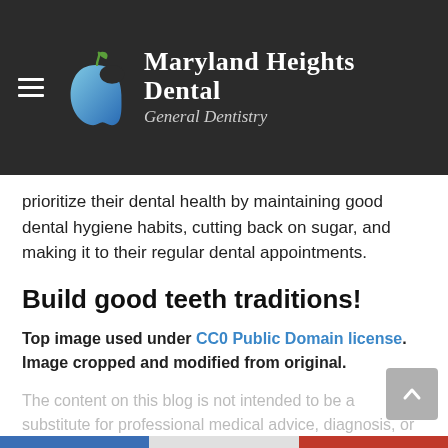Maryland Heights Dental — General Dentistry
prioritize their dental health by maintaining good dental hygiene habits, cutting back on sugar, and making it to their regular dental appointments.
Build good teeth traditions!
Top image used under CC0 Public Domain license. Image cropped and modified from original.
The content on this blog is not intended to be a substitute for professional medical advice, diagnosis, or treatment. Always seek the advice of qualified health providers with questions you may have regarding medical conditions.